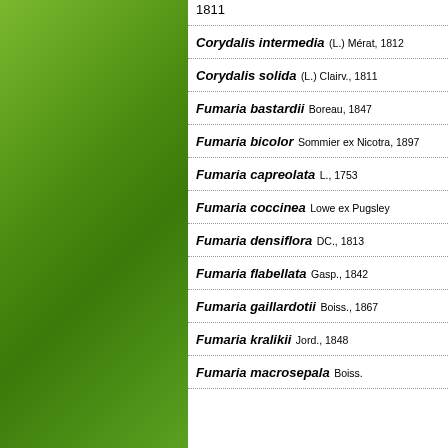[Figure (illustration): Green gradient decorative panel on the left side of the page]
1811
Corydalis intermedia (L.) Mérat, 1812
Corydalis solida (L.) Clairv., 1811
Fumaria bastardii Boreau, 1847
Fumaria bicolor Sommier ex Nicotra, 1897
Fumaria capreolata L., 1753
Fumaria coccinea Lowe ex Pugsley
Fumaria densiflora DC., 1813
Fumaria flabellata Gasp., 1842
Fumaria gaillardotii Boiss., 1867
Fumaria kralikii Jord., 1848
Fumaria macrosepala Boiss.